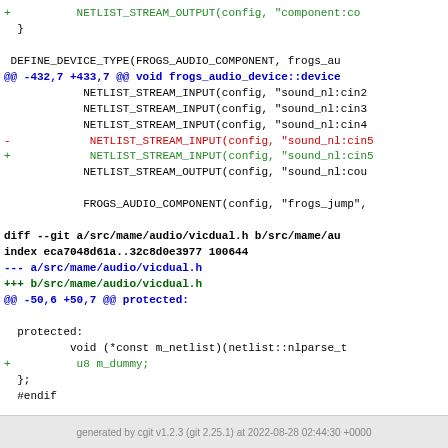code diff showing NETLIST_STREAM_OUTPUT, DEFINE_DEVICE_TYPE, frogs_audio, NETLIST_STREAM_INPUT changes, and vicdual.h diff with u8 m_dummy addition
generated by cgit v1.2.3 (git 2.25.1) at 2022-08-28 02:44:30 +0000